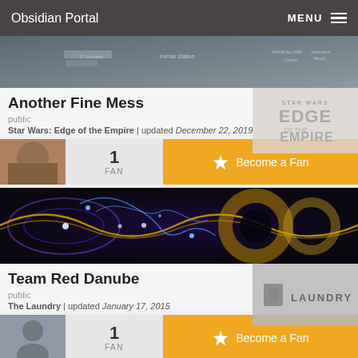Obsidian Portal  MENU
[Figure (screenshot): Banner image for Another Fine Mess campaign — dark map-like background with geographic labels]
Another Fine Mess
public
Star Wars: Edge of the Empire | updated December 22, 2019
[Figure (logo): Star Wars: Edge of the Empire logo watermark]
1
FAN
Become a Fan
[Figure (screenshot): Team Red Danube banner — abstract colorful wave and energy pattern on dark background]
Team Red Danube
public
The Laundry | updated January 17, 2015
[Figure (logo): The Laundry logo watermark]
1
FAN
Become a Fan